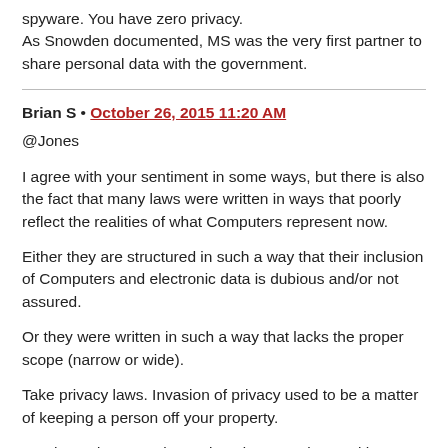spyware. You have zero privacy.
As Snowden documented, MS was the very first partner to share personal data with the government.
Brian S • October 26, 2015 11:20 AM
@Jones

I agree with your sentiment in some ways, but there is also the fact that many laws were written in ways that poorly reflect the realities of what Computers represent now.

Either they are structured in such a way that their inclusion of Computers and electronic data is dubious and/or not assured.

Or they were written in such a way that lacks the proper scope (narrow or wide).

Take privacy laws. Invasion of privacy used to be a matter of keeping a person off your property.

But these days people can invade your privacy without ever setting foot in your house. All of it enabled by the rise of